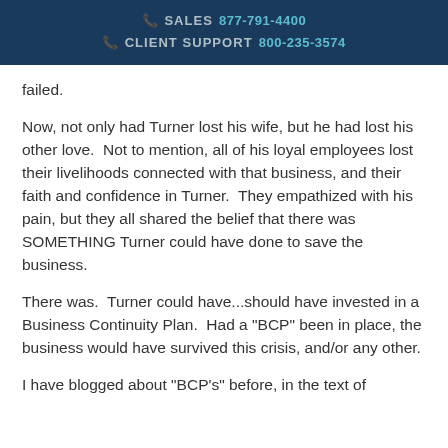SALES 877-791-4400  CLIENT SUPPORT 800-235-3574
failed.
Now, not only had Turner lost his wife, but he had lost his other love.  Not to mention, all of his loyal employees lost their livelihoods connected with that business, and their faith and confidence in Turner.  They empathized with his pain, but they all shared the belief that there was SOMETHING Turner could have done to save the business.
There was.  Turner could have...should have invested in a Business Continuity Plan.  Had a "BCP" been in place, the business would have survived this crisis, and/or any other.
I have blogged about "BCP's" before, in the text of